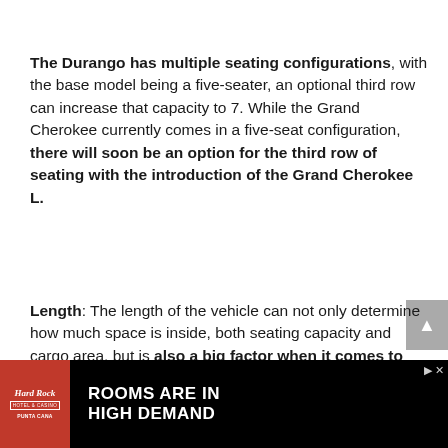The Durango has multiple seating configurations, with the base model being a five-seater, an optional third row can increase that capacity to 7. While the Grand Cherokee currently comes in a five-seat configuration, there will soon be an option for the third row of seating with the introduction of the Grand Cherokee L.
Length: The length of the vehicle can not only determine how much space is inside, both seating capacity and cargo area, but is also a big factor when it comes to stability and
[Figure (other): Hard Rock Hotel & Casino advertisement banner — 'ROOMS ARE IN HIGH DEMAND' with Hard Rock logo and Punta Cana branding, dark background with woman image on right]